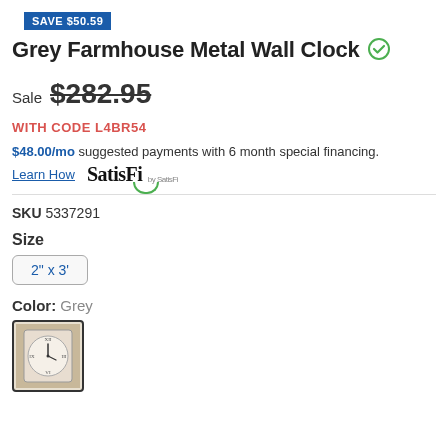SAVE $50.59
Grey Farmhouse Metal Wall Clock
Sale $282.95
WITH CODE L4BR54
$48.00/mo suggested payments with 6 month special financing.
Learn How  SatisFi
SKU 5337291
Size
2" x 3'
Color: Grey
[Figure (photo): Small thumbnail image of a grey farmhouse metal wall clock with Roman numerals]